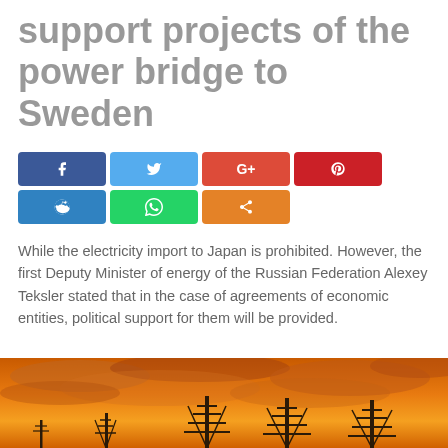support projects of the power bridge to Sweden
[Figure (infographic): Social media share buttons: Facebook, Twitter, Google+, Pinterest (top row); Reddit, WhatsApp, Share (bottom row)]
While the electricity import to Japan is prohibited. However, the first Deputy Minister of energy of the Russian Federation Alexey Teksler stated that in the case of agreements of economic entities, political support for them will be provided.
[Figure (photo): Silhouettes of electricity transmission towers against an orange sunset sky with dramatic clouds.]